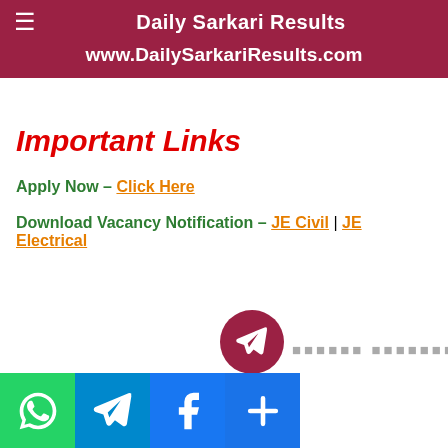Daily Sarkari Results
www.DailySarkariResults.com
Important Links
Apply Now – Click Here
Download Vacancy Notification – JE Civil | JE Electrical
[Figure (infographic): Telegram icon with Hindi text and social media share buttons (WhatsApp, Telegram, Facebook, Share+)]